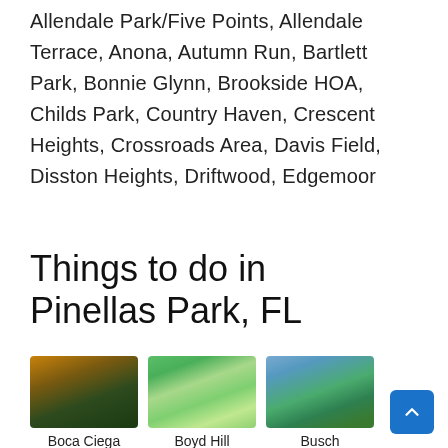Allendale Park/Five Points, Allendale Terrace, Anona, Autumn Run, Bartlett Park, Bonnie Glynn, Brookside HOA, Childs Park, Country Haven, Crescent Heights, Crossroads Area, Davis Field, Disston Heights, Driftwood, Edgemoor
Things to do in Pinellas Park, FL
[Figure (photo): Photo of Boca Ciega Millennium park area at sunset with boardwalk and marshland]
Boca Ciega Millennium
[Figure (photo): Photo of Boyd Hill Nature trail with sandy path through green trees]
Boyd Hill Nature
[Figure (photo): Photo of Busch Gardens with tower and lush greenery]
Busch Gardens